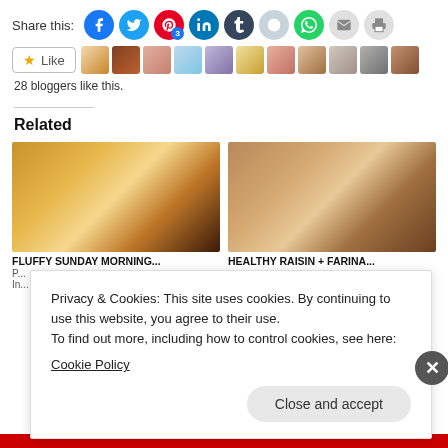Share this:
[Figure (infographic): Social media share icons: Facebook, Twitter, Pinterest (with badge 3), LinkedIn, Tumblr, Reddit, WhatsApp, Email, Print]
[Figure (infographic): Like button with star icon, followed by a row of 11 avatar thumbnails of bloggers]
28 bloggers like this.
Related
[Figure (photo): Stack of fluffy pancakes with berries and syrup on top]
FLUFFY SUNDAY MORNING...
[Figure (photo): Stacked round cookies or muffin tops]
HEALTHY RAISIN + FARINA...
Privacy & Cookies: This site uses cookies. By continuing to use this website, you agree to their use.
To find out more, including how to control cookies, see here:
Cookie Policy
Close and accept